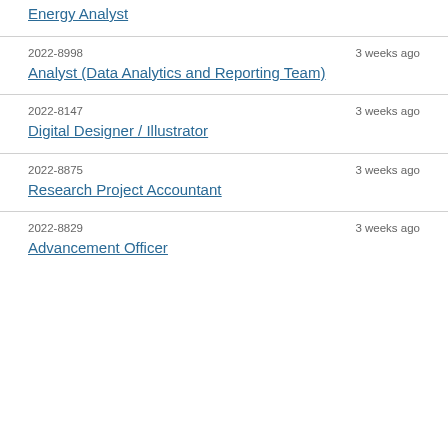Energy Analyst
2022-8998 · 3 weeks ago · Analyst (Data Analytics and Reporting Team)
2022-8147 · 3 weeks ago · Digital Designer / Illustrator
2022-8875 · 3 weeks ago · Research Project Accountant
2022-8829 · 3 weeks ago · Advancement Officer